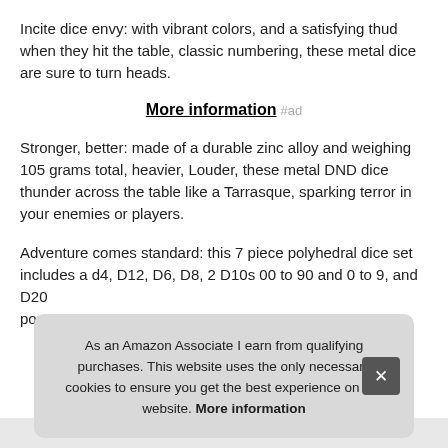Incite dice envy: with vibrant colors, and a satisfying thud when they hit the table, classic numbering, these metal dice are sure to turn heads.
More information #ad
Stronger, better: made of a durable zinc alloy and weighing 105 grams total, heavier, Louder, these metal DND dice thunder across the table like a Tarrasque, sparking terror in your enemies or players.
Adventure comes standard: this 7 piece polyhedral dice set includes a d4, D12, D6, D8, 2 D10s 00 to 90 and 0 to 9, and D20 port
As an Amazon Associate I earn from qualifying purchases. This website uses the only necessary cookies to ensure you get the best experience on our website. More information